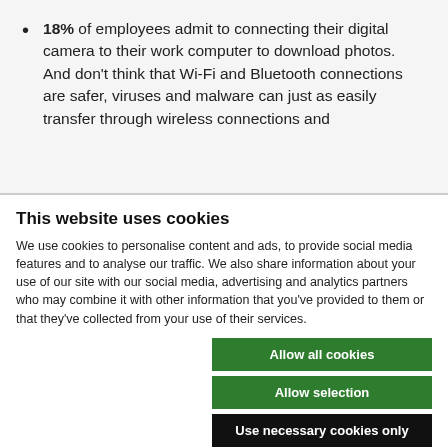18% of employees admit to connecting their digital camera to their work computer to download photos.  And don't think that Wi-Fi and Bluetooth connections are safer, viruses and malware can just as easily transfer through wireless connections and
This website uses cookies
We use cookies to personalise content and ads, to provide social media features and to analyse our traffic. We also share information about your use of our site with our social media, advertising and analytics partners who may combine it with other information that you've provided to them or that they've collected from your use of their services.
Allow all cookies
Allow selection
Use necessary cookies only
Necessary  Preferences  Statistics  Marketing  Show details